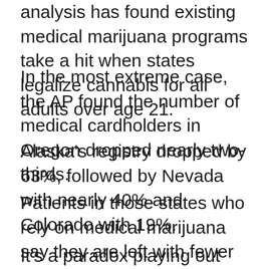analysis has found existing medical marijuana programs take a hit when states legalize cannabis for all adults over age 21.
In the most extreme case, the AP found the number of medical cardholders in Oregon dropped nearly two-thirds.
Alaska's registry dropped by 63%, followed by Nevada with nearly 40% and Colorado with 19%.
Patients in those states who rely on medical marijuana say they are left with fewer and more expensive options.
It's a paradox playing out nationwide as more states take the leap from care-centered medical